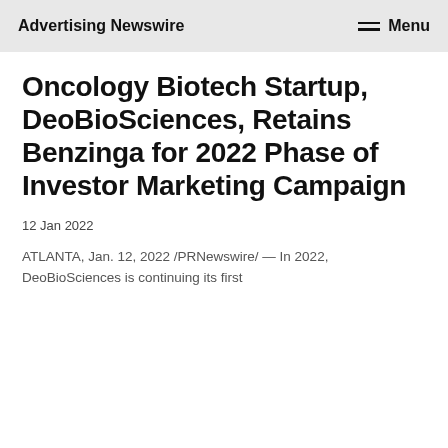Advertising Newswire  Menu
Oncology Biotech Startup, DeoBioSciences, Retains Benzinga for 2022 Phase of Investor Marketing Campaign
12 Jan 2022
ATLANTA, Jan. 12, 2022 /PRNewswire/ — In 2022, DeoBioSciences is continuing its first